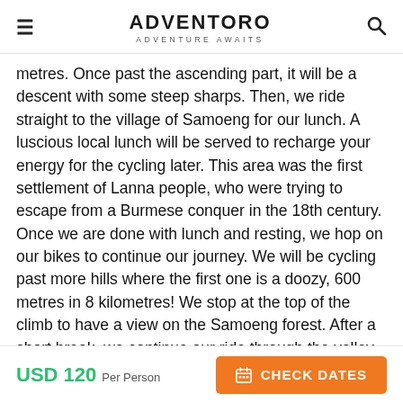ADVENTORO — ADVENTURE AWAITS
metres. Once past the ascending part, it will be a descent with some steep sharps. Then, we ride straight to the village of Samoeng for our lunch. A luscious local lunch will be served to recharge your energy for the cycling later. This area was the first settlement of Lanna people, who were trying to escape from a Burmese conquer in the 18th century. Once we are done with lunch and resting, we hop on our bikes to continue our journey. We will be cycling past more hills where the first one is a doozy, 600 metres in 8 kilometres! We stop at the top of the climb to have a view on the Samoeng forest. After a short break, we continue our ride through the valley of Mae Sa River where we will see many greenhouses and fields cultivated by the Hmong tribes in the area. Also, we will end our journey on a flat
USD 120 Per Person | CHECK DATES